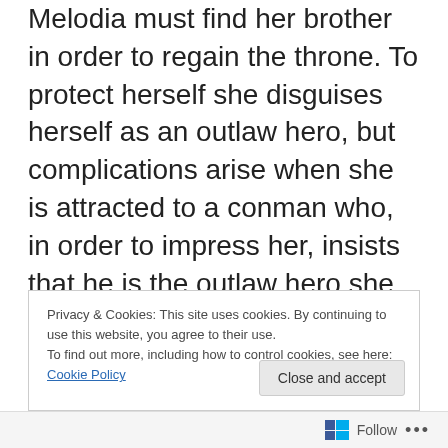Melodia must find her brother in order to regain the throne. To protect herself she disguises herself as an outlaw hero, but complications arise when she is attracted to a conman who, in order to impress her, insists that he is the outlaw hero she actually is. Add in an outlaw band, an evil swordsman, an assassin on the prowl, an evil wizard and a quickwitted servant, and you have an all-singing, all-dancing, all-sword fighting romantic comedy of mistaken identities and forsaken responsibilities.
Privacy & Cookies: This site uses cookies. By continuing to use this website, you agree to their use.
To find out more, including how to control cookies, see here: Cookie Policy
Close and accept
1
Follow